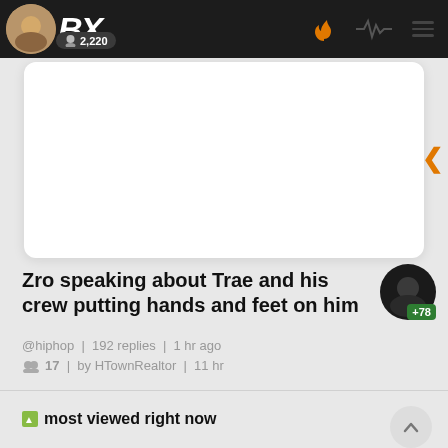BX 2,220
[Figure (screenshot): White card content area (partially visible, top of page)]
Zro speaking about Trae and his crew putting hands and feet on him
@hiphop | 192 replies | 1 hr ago
17 | by HTownRealtor | 11 hr
most viewed right now